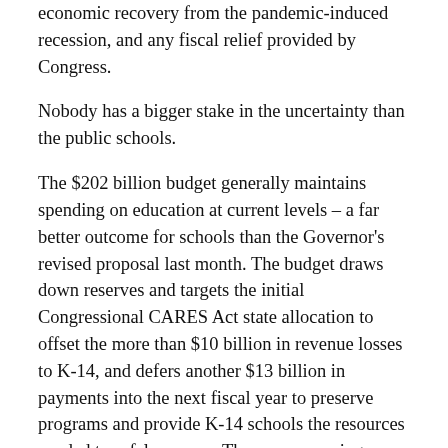economic recovery from the pandemic-induced recession, and any fiscal relief provided by Congress.
Nobody has a bigger stake in the uncertainty than the public schools.
The $202 billion budget generally maintains spending on education at current levels – a far better outcome for schools than the Governor's revised proposal last month. The budget draws down reserves and targets the initial Congressional CARES Act state allocation to offset the more than $10 billion in revenue losses to K-14, and defers another $13 billion in payments into the next fiscal year to preserve programs and provide K-14 schools the resources needed to safely reopen. The accompanying legislation also prohibited any layoffs of teachers or certain other staff for the next year.
On the other hand, the state's four-year colleges and universities will suffer greater reductions than the Governor originally proposed. The University of California and California State University will see their spending reduced by a total of